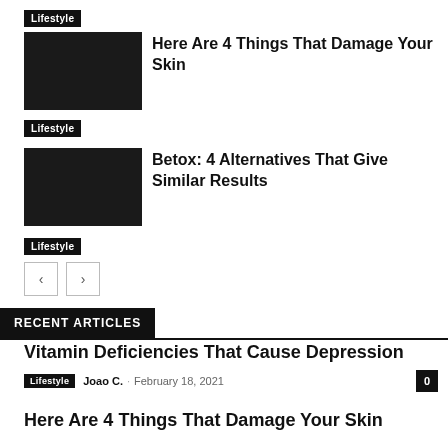Lifestyle
[Figure (photo): Dark thumbnail placeholder image]
Here Are 4 Things That Damage Your Skin
Lifestyle
[Figure (photo): Dark thumbnail placeholder image]
Betox: 4 Alternatives That Give Similar Results
Lifestyle
[Figure (other): Navigation prev/next buttons]
RECENT ARTICLES
Vitamin Deficiencies That Cause Depression
Lifestyle  Joao C.  ·  February 18, 2021  0
Here Are 4 Things That Damage Your Skin